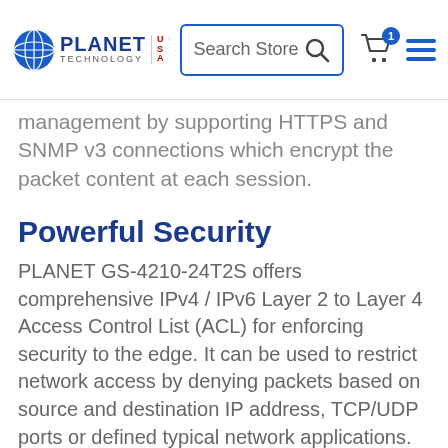PLANET TECHNOLOGY USA — Search Store navigation bar
management by supporting HTTPS and SNMP v3 connections which encrypt the packet content at each session.
Powerful Security
PLANET GS-4210-24T2S offers comprehensive IPv4 / IPv6 Layer 2 to Layer 4 Access Control List (ACL) for enforcing security to the edge. It can be used to restrict network access by denying packets based on source and destination IP address, TCP/UDP ports or defined typical network applications. Its protection mechanism also comprises 802.1X port-based authentication, which can be deployed with RADIUS to ensure the port